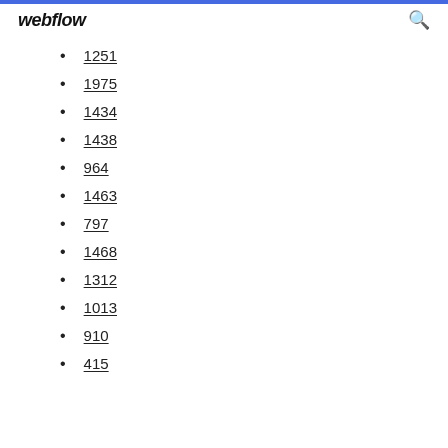webflow
1251
1975
1434
1438
964
1463
797
1468
1312
1013
910
415